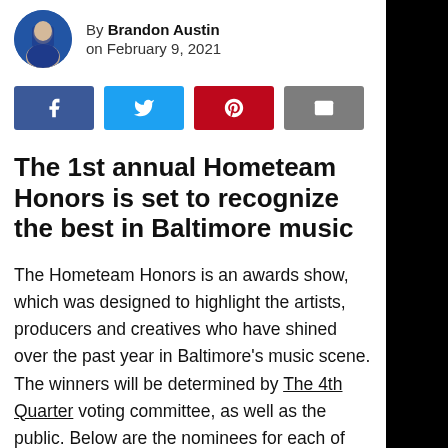By Brandon Austin on February 9, 2021
[Figure (other): Circular avatar photo of Brandon Austin wearing a blue hoodie]
[Figure (other): Social share buttons: Facebook (blue), Twitter (light blue), Pinterest (red), Email (gray)]
The 1st annual Hometeam Honors is set to recognize the best in Baltimore music
The Hometeam Honors is an awards show, which was designed to highlight the artists, producers and creatives who have shined over the past year in Baltimore’s music scene. The winners will be determined by The 4th Quarter voting committee, as well as the public. Below are the nominees for each of the 17 categories. The list will be updated as the